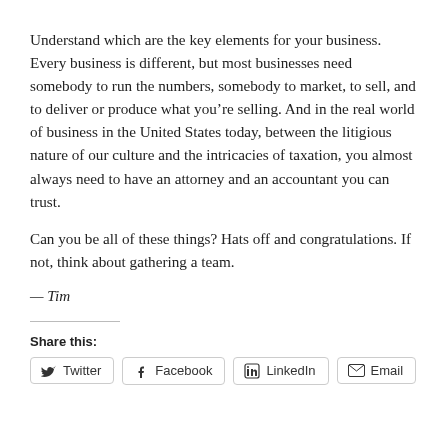Understand which are the key elements for your business. Every business is different, but most businesses need somebody to run the numbers, somebody to market, to sell, and to deliver or produce what you’re selling. And in the real world of business in the United States today, between the litigious nature of our culture and the intricacies of taxation, you almost always need to have an attorney and an accountant you can trust.
Can you be all of these things? Hats off and congratulations. If not, think about gathering a team.
— Tim
Share this:
Twitter | Facebook | LinkedIn | Email